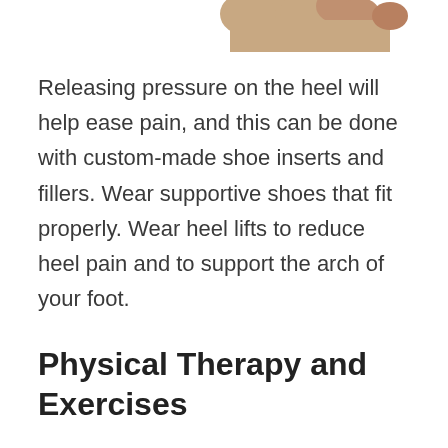[Figure (photo): Partial view of a hand/foot at the top of the page, cropped]
Releasing pressure on the heel will help ease pain, and this can be done with custom-made shoe inserts and fillers. Wear supportive shoes that fit properly. Wear heel lifts to reduce heel pain and to support the arch of your foot.
Physical Therapy and Exercises